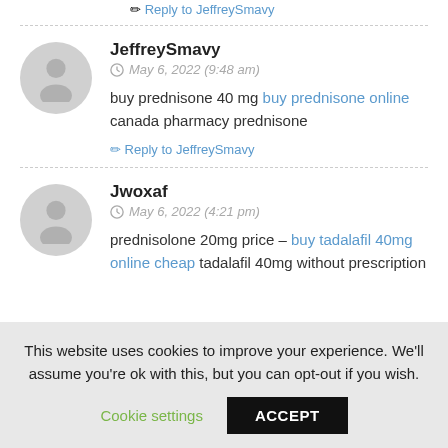Reply to JeffreySmavy
JeffreySmavy
May 6, 2022 (9:48 am)
buy prednisone 40 mg buy prednisone online canada pharmacy prednisone
Reply to JeffreySmavy
Jwoxaf
May 6, 2022 (4:21 pm)
prednisolone 20mg price – buy tadalafil 40mg online cheap tadalafil 40mg without prescription
This website uses cookies to improve your experience. We'll assume you're ok with this, but you can opt-out if you wish.
Cookie settings  ACCEPT